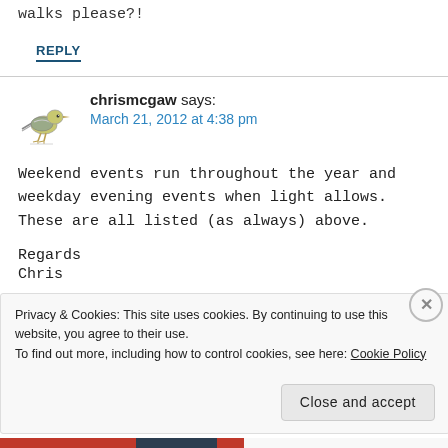walks please?!
REPLY
[Figure (illustration): Small bird avatar/logo image — a yellow-gray wagtail bird illustration used as a comment avatar]
chrismcgaw says:
March 21, 2012 at 4:38 pm
Weekend events run throughout the year and weekday evening events when light allows. These are all listed (as always) above.
Regards
Chris
Privacy & Cookies: This site uses cookies. By continuing to use this website, you agree to their use.
To find out more, including how to control cookies, see here: Cookie Policy
Close and accept